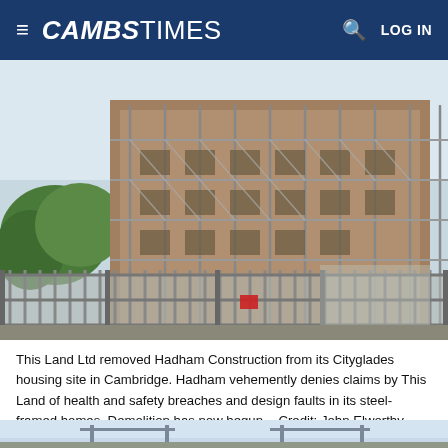CAMBS TIMES
[Figure (photo): Construction site showing a multi-storey building covered in scaffolding, surrounded by metal security fencing, with green trees visible to the left and a pale sky background.]
This Land Ltd removed Hadham Construction from its Cityglades housing site in Cambridge. Hadham vehemently denies claims by This Land of health and safety breaches and design faults in its steel-framed homes. Demolition has now begun. - Credit: John Elworthy
[Figure (photo): Partial view of a second photograph, showing what appears to be a construction or crane structure against a light blue sky, cropped at the bottom of the page.]